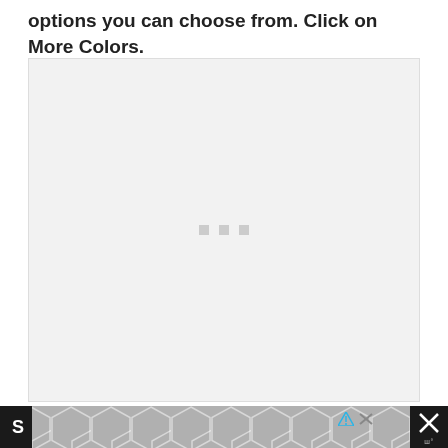options you can choose from. Click on More Colors.
[Figure (screenshot): A mostly blank/loading screenshot placeholder with three small grey squares in the center, on a light grey background.]
S [advertisement banner with hexagon pattern, ad close button and badge]